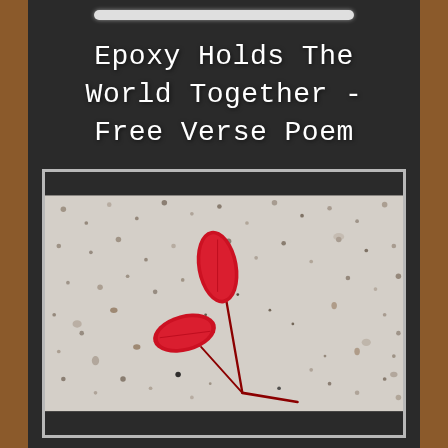Epoxy Holds The World Together - Free Verse Poem
[Figure (photo): A red maple seedling with two red leaves lying on a speckled concrete/epoxy floor surface. The plant has a thin dark red stem with two wing-like red leaves splayed open, photographed from above.]